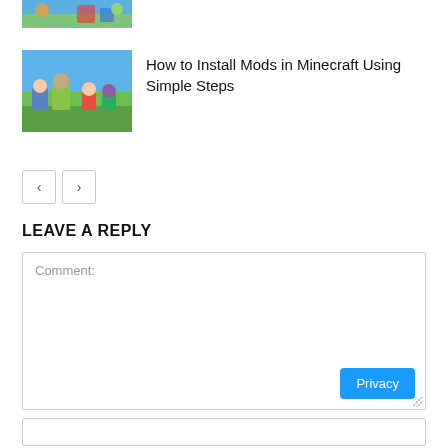[Figure (screenshot): Partial cropped image strip at top showing a colorful game screenshot]
[Figure (screenshot): Minecraft game thumbnail image with MINECRAFT logo text overlay and colorful landscape]
How to Install Mods in Minecraft Using Simple Steps
[Figure (other): Pagination navigation buttons with left arrow and right arrow]
LEAVE A REPLY
Comment: (text input area)
Privacy (button)
(empty input field at bottom)